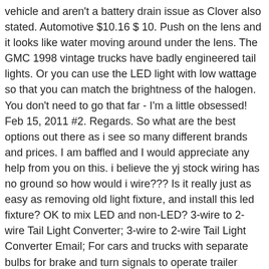vehicle and aren't a battery drain issue as Clover also stated. Automotive $10.16 $ 10. Push on the lens and it looks like water moving around under the lens. The GMC 1998 vintage trucks have badly engineered tail lights. Or you can use the LED light with low wattage so that you can match the brightness of the halogen. You don't need to go that far - I'm a little obsessed! Feb 15, 2011 #2. Regards. So what are the best options out there as i see so many different brands and prices. I am baffled and I would appreciate any help from you on this. i believe the yj stock wiring has no ground so how would i wire??? Is it really just as easy as removing old light fixture, and install this led fixture? OK to mix LED and non-LED? 3-wire to 2-wire Tail Light Converter; 3-wire to 2-wire Tail Light Converter Email; For cars and trucks with separate bulbs for brake and turn signals to operate trailer lamps that have one bulb for both brake and turn signal. Arrives before Christmas. $55.70. All you need is a replacement bulb 3157 and a Torx T25 Screwdriver. Disclaimer: Any use of the information contained in this document is at the user's own risk. That means only 25% is the emitted heat energy. Joined: Oct 28, … Diesel07 said: ↑ Would you be interested in selling/swapping tail lights? I have a 2016 Denali. THE YETI Supporting Vendor. Converter works with either incandescent or LED tail lights. Conclusion. 81 Posts . One of my